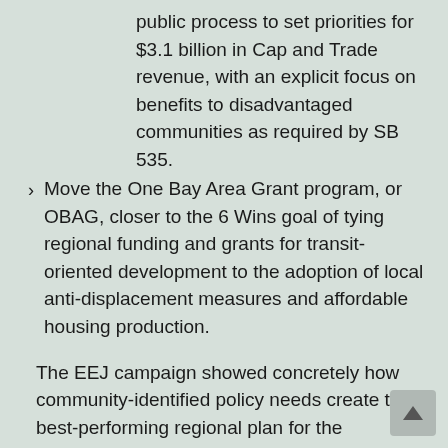public process to set priorities for $3.1 billion in Cap and Trade revenue, with an explicit focus on benefits to disadvantaged communities as required by SB 535.
Move the One Bay Area Grant program, or OBAG, closer to the 6 Wins goal of tying regional funding and grants for transit-oriented development to the adoption of local anti-displacement measures and affordable housing production.
The EEJ campaign showed concretely how community-identified policy needs create the best-performing regional plan for the environment, equity and jobs. The campaign will continue as the 6 Wins Network works to implement the